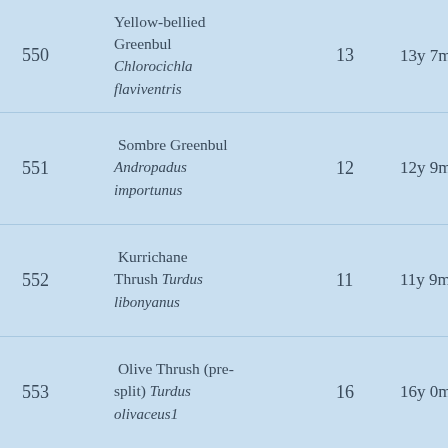| # | Species | Count | Duration |
| --- | --- | --- | --- |
| 550 | Yellow-bellied Greenbul Chlorocichla flaviventris | 13 | 13y 7m 15d |
| 551 | Sombre Greenbul Andropadus importunus | 12 | 12y 9m 12d |
| 552 | Kurrichane Thrush Turdus libonyanus | 11 | 11y 9m 12d |
| 553 | Olive Thrush (pre-split) Turdus olivaceus1 | 16 | 16y 0m 28d |